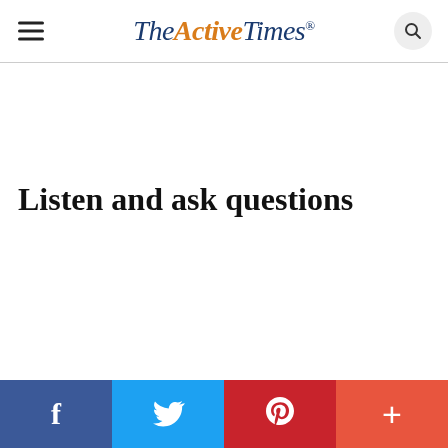TheActiveTimes
Listen and ask questions
f  Twitter  P  +